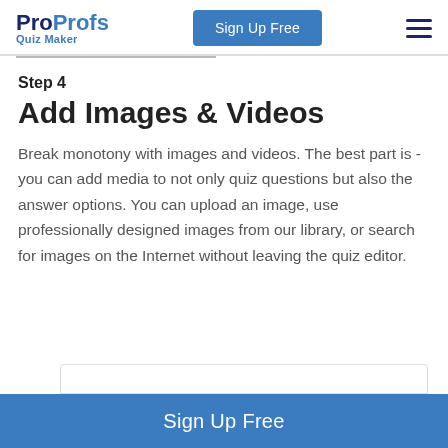ProProfs Quiz Maker | Sign Up Free
Step 4
Add Images & Videos
Break monotony with images and videos. The best part is - you can add media to not only quiz questions but also the answer options. You can upload an image, use professionally designed images from our library, or search for images on the Internet without leaving the quiz editor.
Sign Up Free